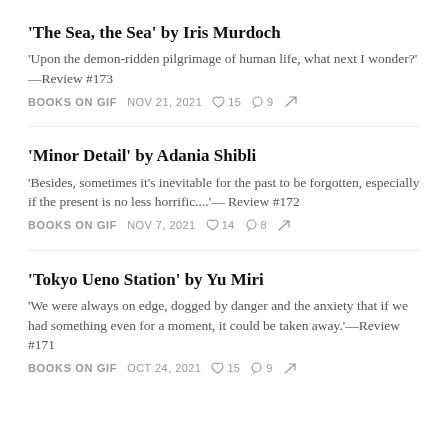'The Sea, the Sea' by Iris Murdoch
'Upon the demon-ridden pilgrimage of human life, what next I wonder?' —Review #173
BOOKS ON GIF  NOV 21, 2021  ♡ 15  ○ 9  ↗
'Minor Detail' by Adania Shibli
'Besides, sometimes it's inevitable for the past to be forgotten, especially if the present is no less horrific....'— Review #172
BOOKS ON GIF  NOV 7, 2021  ♡ 14  ○ 8  ↗
'Tokyo Ueno Station' by Yu Miri
'We were always on edge, dogged by danger and the anxiety that if we had something even for a moment, it could be taken away.'—Review #171
BOOKS ON GIF  OCT 24, 2021  ♡ 15  ○ 9  ↗